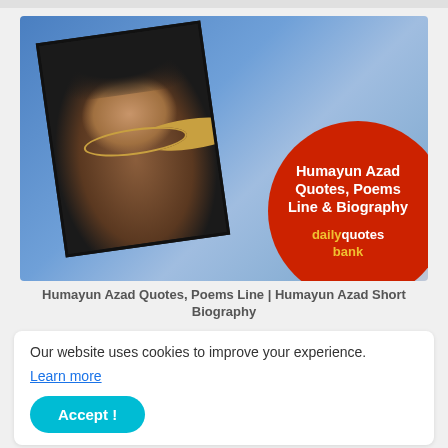[Figure (photo): Banner image showing Humayun Azad with a tilted photo effect on a blue gradient background, featuring a red circle overlay with text 'Humayun Azad Quotes, Poems Line & Biography' and the 'dailyquotes bank' branding.]
Humayun Azad Quotes, Poems Line | Humayun Azad Short Biography
Our website uses cookies to improve your experience.
Learn more
Accept !
Humayun Kabir and he was born in Ramikhal village under